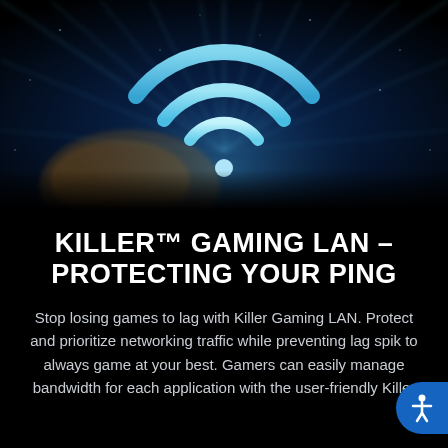[Figure (illustration): Dark blue tech background with glowing WiFi/wireless signal icon in cyan/light blue tones, with radiating light beams and a globe-like element, dramatic atmospheric gaming aesthetic]
KILLER™ GAMING LAN – PROTECTING YOUR PING
Stop losing games to lag with Killer Gaming LAN. Protect and prioritize networking traffic while preventing lag spikes to always game at your best. Gamers can easily manage bandwidth for each application with the user-friendly Killer Control Center.